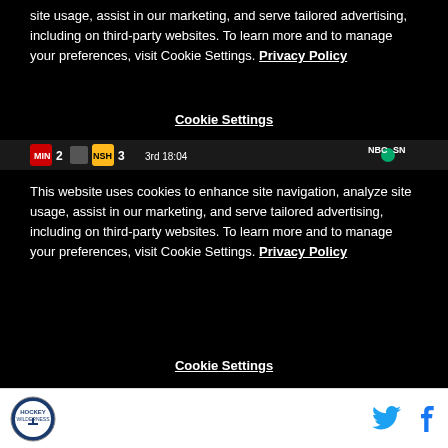site usage, assist in our marketing, and serve tailored advertising, including on third-party websites. To learn more and to manage your preferences, visit Cookie Settings. Privacy Policy
Cookie Settings
[Figure (screenshot): Sports scorebar showing MIN 2 vs NSH 3, 3rd period 18:04, NBCSN logo on right]
This website uses cookies to enhance site navigation, analyze site usage, assist in our marketing, and serve tailored advertising, including on third-party websites. To learn more and to manage your preferences, visit Cookie Settings. Privacy Policy
Cookie Settings
Hockey Wilderness logo, Twitter icon, Facebook icon